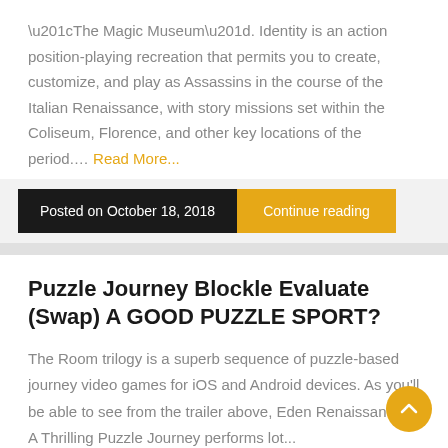“The Magic Museum”. Identity is an action position-playing recreation that permits you to create, customize, and play as Assassins in the course of the Italian Renaissance, with story missions set within the Coliseum, Florence, and other key locations of the period.... Read More...
Posted on October 18, 2018
Continue reading
Puzzle Journey Blockle Evaluate (Swap) A GOOD PUZZLE SPORT?
The Room trilogy is a superb sequence of puzzle-based journey video games for iOS and Android devices. As you’ll be able to see from the trailer above, Eden Renaissance – A Thrilling Puzzle Journey performs lot...